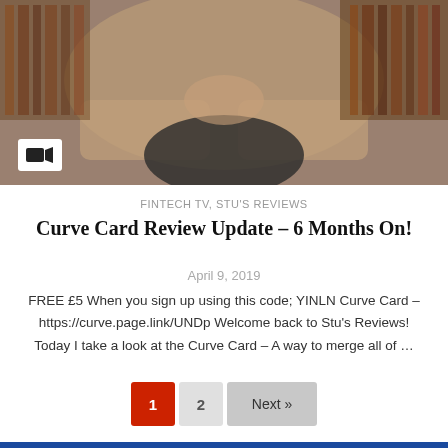[Figure (screenshot): Video thumbnail showing a person sitting in front of a bookshelf with a video camera icon overlay in the bottom left corner]
FINTECH TV, STU'S REVIEWS
Curve Card Review Update – 6 Months On!
April 9, 2019
FREE £5 When you sign up using this code; YINLN Curve Card – https://curve.page.link/UNDp Welcome back to Stu's Reviews! Today I take a look at the Curve Card – A way to merge all of …
1  2  Next »